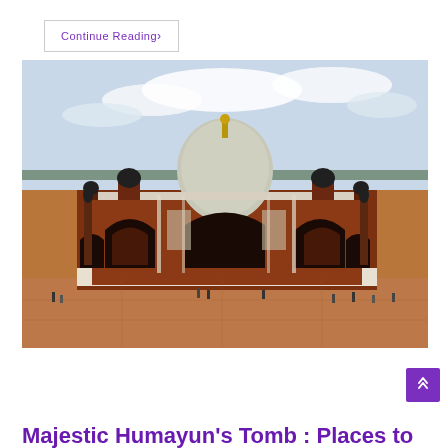Continue Reading›
[Figure (photo): Humayun's Tomb, a grand Mughal-era mausoleum with a large central dome, red sandstone and white marble facade, ornate arched iwans, and smaller chhatris, set against an overcast sky with visitors on the foreground plaza.]
Majestic Humayun's Tomb : Places to